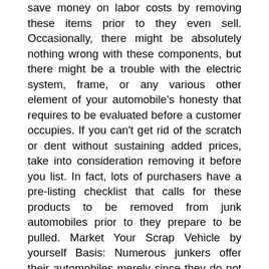save money on labor costs by removing these items prior to they even sell. Occasionally, there might be absolutely nothing wrong with these components, but there might be a trouble with the electric system, frame, or any various other element of your automobile's honesty that requires to be evaluated before a customer occupies. If you can't get rid of the scratch or dent without sustaining added prices, take into consideration removing it before you list. In fact, lots of purchasers have a pre-listing checklist that calls for these products to be removed from junk automobiles prior to they prepare to be pulled. Market Your Scrap Vehicle by yourself Basis: Numerous junkers offer their automobiles merely since they do not want the hassle of paying another person to carry it away. If you have adequate transportation funds, it could be worth considering this option. For instance, some individuals just do not have the additional money lying around to fund the prices of taking their lorry to a junk lawn, along with spend for the elimination costs. When you market your junk lorry on your own, you will still require to spend for transporting away your vehicle to the scrap lawn, yet you won't have to worry about paying a third party to do it for you either. Get In Touch With